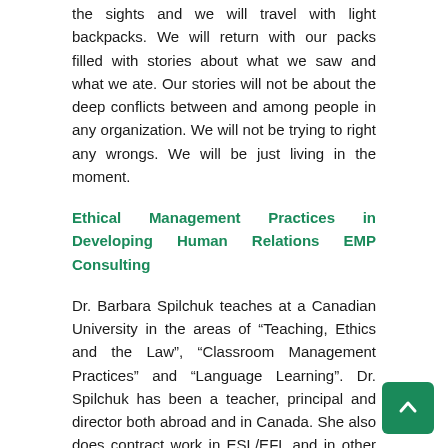the sights and we will travel with light backpacks. We will return with our packs filled with stories about what we saw and what we ate. Our stories will not be about the deep conflicts between and among people in any organization. We will not be trying to right any wrongs. We will be just living in the moment.
Ethical Management Practices in Developing Human Relations EMP Consulting
Dr. Barbara Spilchuk teaches at a Canadian University in the areas of “Teaching, Ethics and the Law”, “Classroom Management Practices” and “Language Learning”. Dr. Spilchuk has been a teacher, principal and director both abroad and in Canada. She also does contract work in ESL/EFL and in other curriculum areas for educational institutions both in Canada and abroad through her business, EMP Consulting.
Dr. Spilchuk offers free advice to international teachers on how to avoid or navigate through legal situations. She is also prepared to offer assistance, advice and advocacy for international teachers caught in difficult situations abroad. Dr.